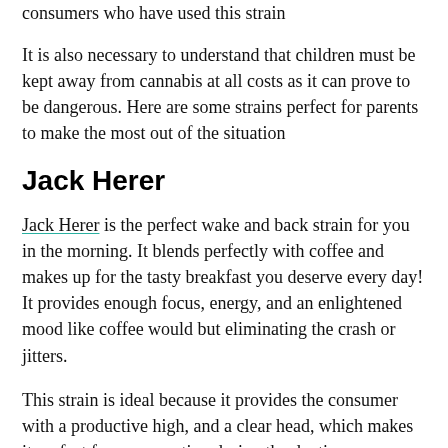consumers who have used this strain
It is also necessary to understand that children must be kept away from cannabis at all costs as it can prove to be dangerous. Here are some strains perfect for parents to make the most out of the situation
Jack Herer
Jack Herer is the perfect wake and back strain for you in the morning. It blends perfectly with coffee and makes up for the tasty breakfast you deserve every day! It provides enough focus, energy, and an enlightened mood like coffee would but eliminating the crash or jitters.
This strain is ideal because it provides the consumer with a productive high, and a clear head, which makes it perfect for consumption during the daytime.